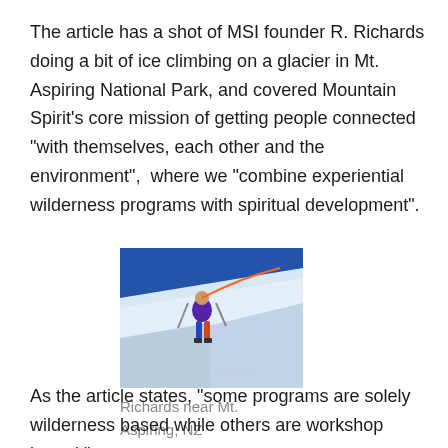The article has a shot of MSI founder R. Richards doing a bit of ice climbing on a glacier in Mt. Aspiring National Park, and covered Mountain Spirit’s core mission of getting people connected “with themselves, each other and the environment”,  where we “combine experiential wilderness programs with spiritual development”.
[Figure (photo): A person ice climbing on a steep snow/ice slope, wearing colorful gear (purple jacket, blue/orange equipment), photographed from above. Blue sky visible in background. A watermark reading 'spirit' is faintly visible.]
Richards near Mt. Aspiring, NZ
As the article states, “some programs are solely wilderness based while others are workshop based.”